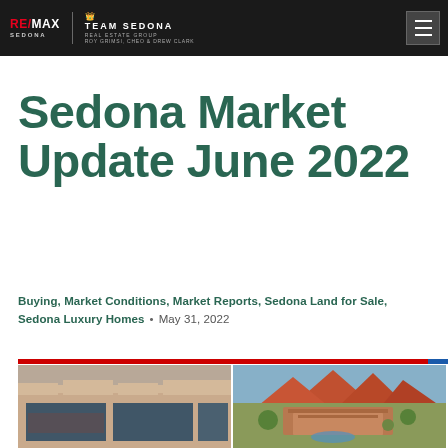RE/MAX Sedona | Team Sedona Real Estate Group | Roy Grimsi, Cheo & Drew Clark
Sedona Market Update June 2022
Buying, Market Conditions, Market Reports, Sedona Land for Sale, Sedona Luxury Homes • May 31, 2022
[Figure (photo): Two real estate property photos side by side: left shows a southwestern-style building with adobe walls and large glass windows; right shows an aerial view of a luxury desert home with red rock mountains in the background.]